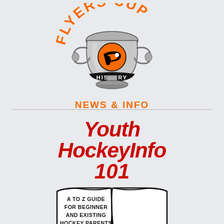[Figure (logo): Flyers Cup logo with trophy graphic showing a large ornate cup with the Philadelphia Flyers logo on it, text 'FLYERS CUP' in orange arc above, 'HISTORY' on a banner across the trophy, and 'NEWS & INFO' in orange text below the trophy]
Youth HockeyInfo 101
[Figure (illustration): Open book illustration with text 'A TO Z GUIDE FOR BEGINNER AND EXISTING HOCKEY PARENTS' written inside the book pages]